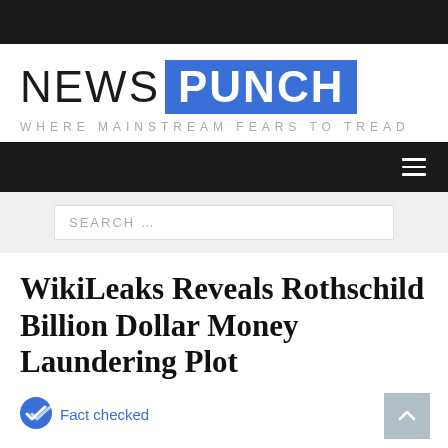[Figure (logo): NewsPunch logo — 'NEWS' in thin dark letters, 'PUNCH' in bold white on blue rectangle, tagline 'WHERE MAINSTREAM FEARS TO TREAD' in spaced grey caps below]
SEARCH ...
WikiLeaks Reveals Rothschild Billion Dollar Money Laundering Plot
Fact checked